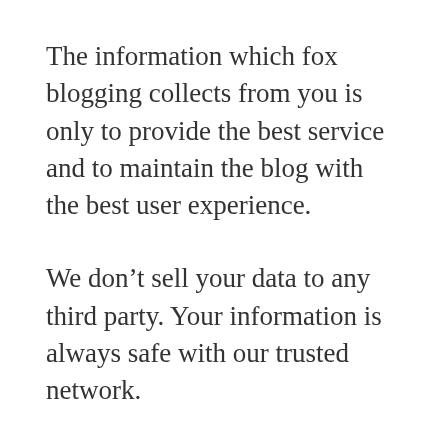The information which fox blogging collects from you is only to provide the best service and to maintain the blog with the best user experience.
We don't sell your data to any third party. Your information is always safe with our trusted network.
User Personal Information
While using our service from this site, we may ask you to provide a certain personally identifiable information all